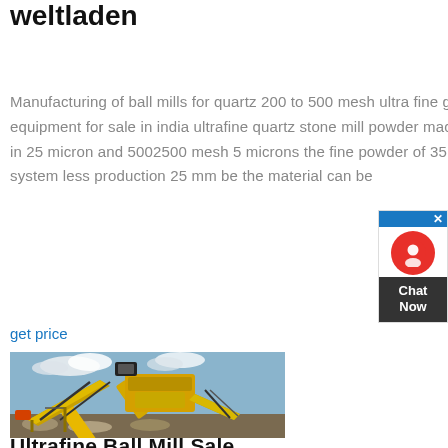weltladen
Manufacturing of ball mills for quartz 200 to 500 mesh ultra fine gold quartz millfine crushing equipment for sale in india ultrafine quartz stone mill powder machine efficient mill fineness in 25 micron and 5002500 mesh 5 microns the fine powder of 35 mesh 355 microns to the system less production 25 mm be the material can be
get price
[Figure (photo): Yellow industrial crushing/conveying equipment on a construction site with conveyor belts and machinery.]
Ultrafine Ball Mill Sale